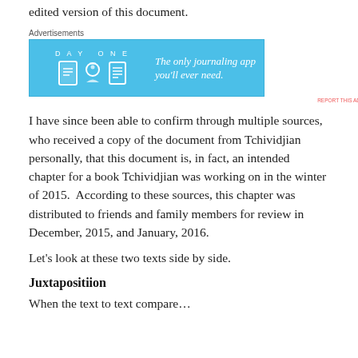edited version of this document.
[Figure (other): Day One journaling app advertisement banner with blue background, app icons, and slogan 'The only journaling app you'll ever need.']
I have since been able to confirm through multiple sources, who received a copy of the document from Tchividjian personally, that this document is, in fact, an intended chapter for a book Tchividjian was working on in the winter of 2015.  According to these sources, this chapter was distributed to friends and family members for review in December, 2015, and January, 2016.
Let's look at these two texts side by side.
Juxtapositiion
When the text to text compare...